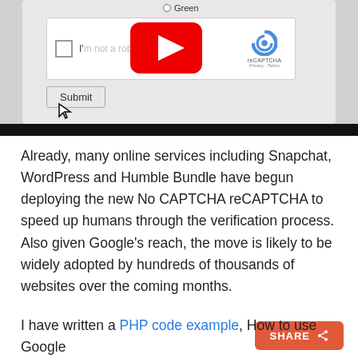[Figure (screenshot): Screenshot of a reCAPTCHA widget with YouTube video overlay and a Submit button. Shows a radio button labeled 'Green', a checkbox area with 'I'm not a robot' text, the reCAPTCHA logo, a YouTube play button overlay, a Submit button, and a cursor arrow.]
Already, many online services including Snapchat, WordPress and Humble Bundle have begun deploying the new No CAPTCHA reCAPTCHA to speed up humans through the verification process. Also given Google's reach, the move is likely to be widely adopted by hundreds of thousands of websites over the coming months.
I have written a PHP code example, How to use Google